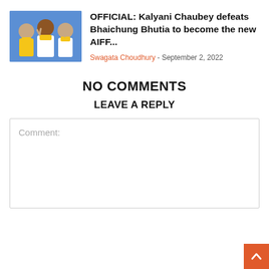[Figure (photo): Three people wearing yellow scarves/garlands posing together, one making a victory sign]
OFFICIAL: Kalyani Chaubey defeats Bhaichung Bhutia to become the new AIFF...
Swagata Choudhury - September 2, 2022
NO COMMENTS
LEAVE A REPLY
Comment: